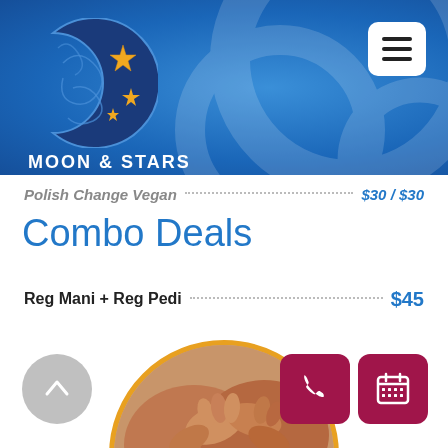[Figure (logo): Moon & Stars Spa + Nails logo: decorative crescent moon with golden stars on blue background, with brand name text below]
Polish Change Vegan ... $30 / $30
Combo Deals
Reg Mani + Reg Pedi ... $45
[Figure (photo): Circular cropped photo of a massage therapist's hands working on a client's shoulders/neck area]